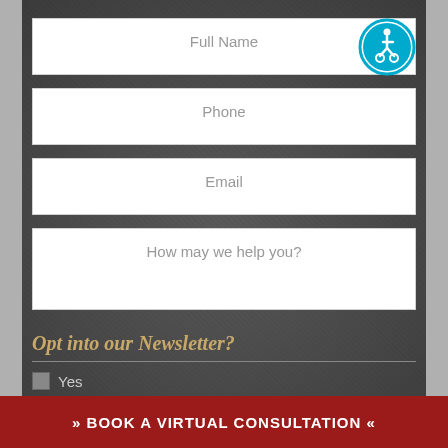Full Name
Phone
Email
How may we help you?
Opt into our Newsletter?
Yes
» BOOK A VIRTUAL CONSULTATION «